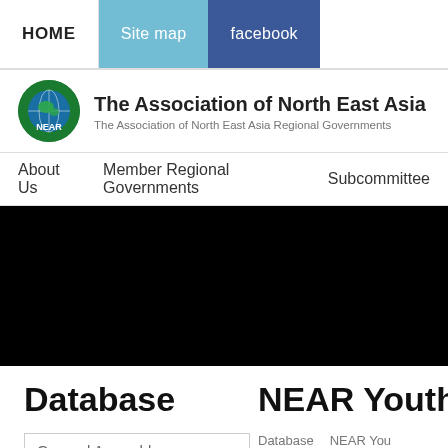HOME   Site map   facebook
The Association of North East Asia Regional
The Association of North East Asia Regional Governments
About Us   Member Regional Governments   Subcommittee
[Figure (photo): Black hero image banner area]
Database
NEAR Youth Co
Database   NEAR You
General Assembly